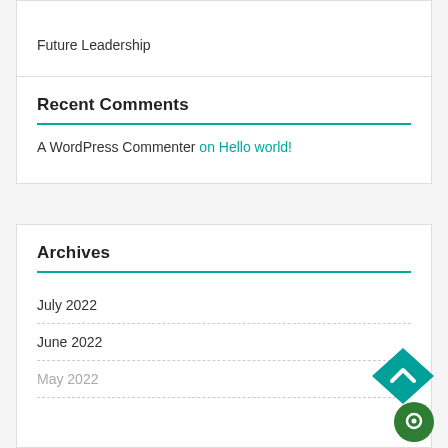Future Leadership
Recent Comments
A WordPress Commenter on Hello world!
Archives
July 2022
June 2022
May 2022